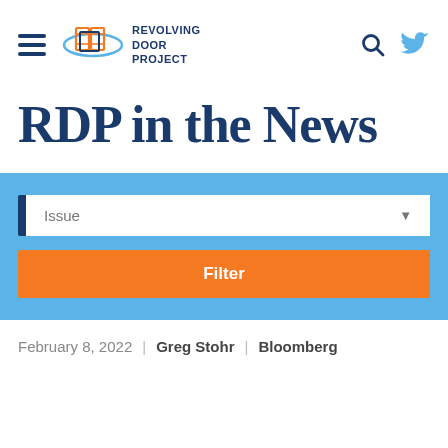Revolving Door Project
RDP in the News
Issue — Filter
February 8, 2022 | Greg Stohr | Bloomberg